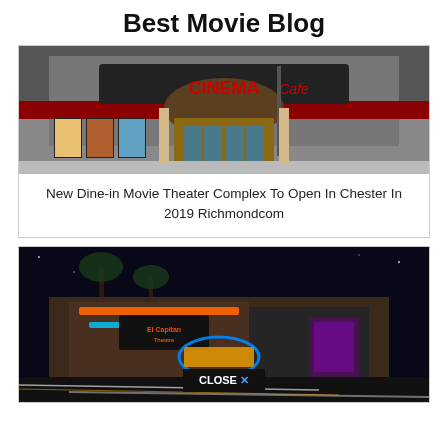Best Movie Blog
[Figure (photo): Daytime exterior photo of a Cinema Cafe movie theater building with red signage reading 'CINEMA Cafe', movie poster displays on left, and illuminated entrance]
New Dine-in Movie Theater Complex To Open In Chester In 2019 Richmondcom
[Figure (photo): Nighttime exterior photo of a colorful neon-lit movie theater building with palm trees, bright neon signs, and light streaks from passing cars on the street]
CLOSE ✕